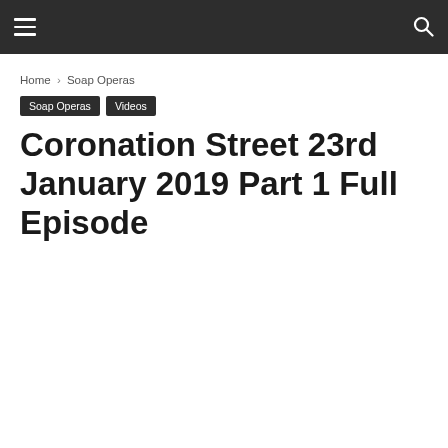☰  🔍
Home › Soap Operas
Soap Operas
Videos
Coronation Street 23rd January 2019 Part 1 Full Episode